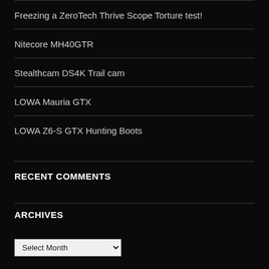Freezing a ZeroTech Thrive Scope Torture test!
Nitecore MH40GTR
Stealthcam DS4K Trail cam
LOWA Mauria GTX
LOWA Z6-S GTX Hunting Boots
RECENT COMMENTS
ARCHIVES
META